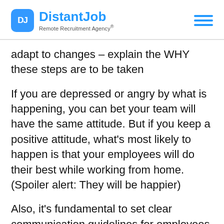DistantJob Remote Recruitment Agency®
adapt to changes – explain the WHY these steps are to be taken
If you are depressed or angry by what is happening, you can bet your team will have the same attitude. But if you keep a positive attitude, what's most likely to happen is that your employees will do their best while working from home. (Spoiler alert: They will be happier)
Also, it's fundamental to set clear communication guidelines for employees to know how to reach each